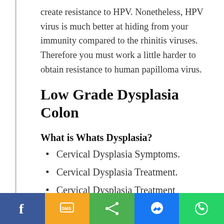create resistance to HPV. Nonetheless, HPV virus is much better at hiding from your immunity compared to the rhinitis viruses. Therefore you must work a little harder to obtain resistance to human papilloma virus.
Low Grade Dysplasia Colon
What is Whats Dysplasia?
Cervical Dysplasia Symptoms.
Cervical Dysplasia Treatment.
Cervical Dysplasia Treatment